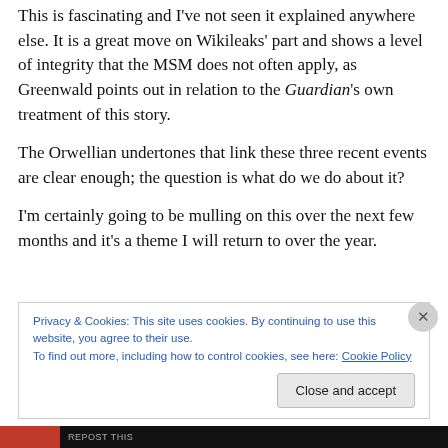This is fascinating and I've not seen it explained anywhere else. It is a great move on Wikileaks' part and shows a level of integrity that the MSM does not often apply, as Greenwald points out in relation to the Guardian's own treatment of this story.
The Orwellian undertones that link these three recent events are clear enough; the question is what do we do about it?
I'm certainly going to be mulling on this over the next few months and it's a theme I will return to over the year.
Privacy & Cookies: This site uses cookies. By continuing to use this website, you agree to their use.
To find out more, including how to control cookies, see here: Cookie Policy